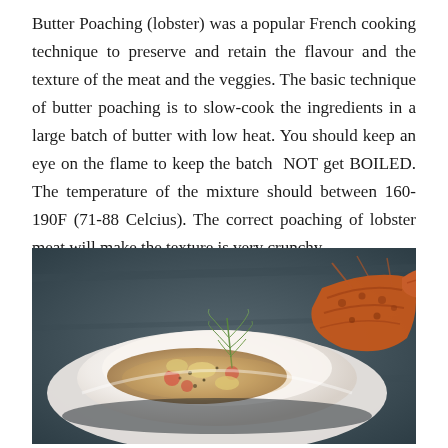Butter Poaching (lobster) was a popular French cooking technique to preserve and retain the flavour and the texture of the meat and the veggies. The basic technique of butter poaching is to slow-cook the ingredients in a large batch of butter with low heat. You should keep an eye on the flame to keep the batch NOT get BOILED. The temperature of the mixture should between 160-190F (71-88 Celcius). The correct poaching of lobster meat will make the texture is very crunchy.
[Figure (photo): A plated dish showing a white bowl with lobster meat garnished with fennel fronds and vegetables, with a whole lobster claw visible on the right side, set against a dark slate background.]